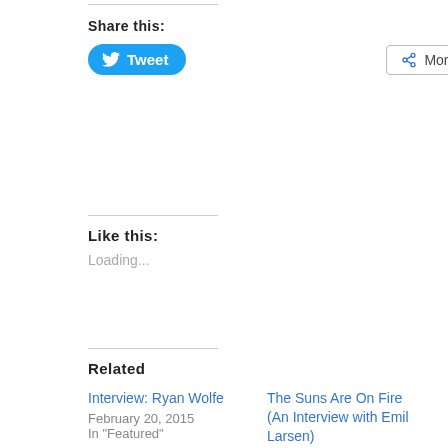Share this:
[Figure (screenshot): Tweet button (blue rounded) and More button (outlined with share icon)]
Like this:
Loading...
Related
Interview: Ryan Wolfe
February 20, 2015
In "Featured"
The Suns Are On Fire (An Interview with Emil Larsen)
September 20, 2013
In "Interviews"
Review: Imperial Stars II
April 23, 2015
In "Featured"